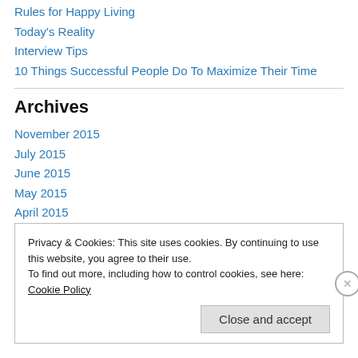Rules for Happy Living
Today's Reality
Interview Tips
10 Things Successful People Do To Maximize Their Time
Archives
November 2015
July 2015
June 2015
May 2015
April 2015
February 2015
Privacy & Cookies: This site uses cookies. By continuing to use this website, you agree to their use.
To find out more, including how to control cookies, see here: Cookie Policy